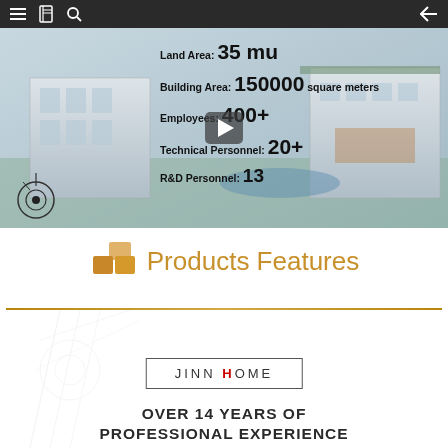[Figure (screenshot): Navigation bar with menu icon, book icon, search icon on left and back arrow on right, dark background]
[Figure (photo): Aerial/video view of a building complex with overlay statistics: Land Area: 35 mu, Building Area: 150000 square meters, Employees: 400+, Technical Personnel: 20+, R&D Personnel: 13. A play button is visible in the center.]
Products Features
[Figure (logo): JINN HOME logo in a rectangle border with red H]
OVER 14 YEARS OF PROFESSIONAL EXPERIENCE